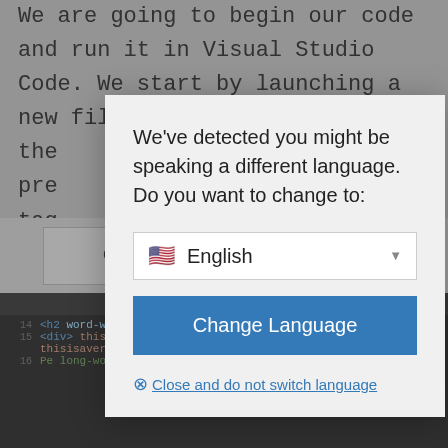We are going to begin our code and run it in Visual Studio Code. We start by launching a new file and the [modal obscures] and pre[modal obscures]sic tag[modal obscures]all the[modal obscures]e of the[modal obscures]two hea[modal obscures]we wri[modal obscures]ord-wra[modal obscures]v it wo
[Figure (screenshot): A browser modal dialog overlaying a document. The modal reads: 'We've detected you might be speaking a different language. Do you want to change to:' with a dropdown showing a US flag and 'English', a blue 'Change Language' button, and a link '⊗ Close and do not switch language'. Behind the modal are two buttons: 'OK' and 'Learn more', and below is a dark code editor screenshot showing HTML code lines 14-16.]